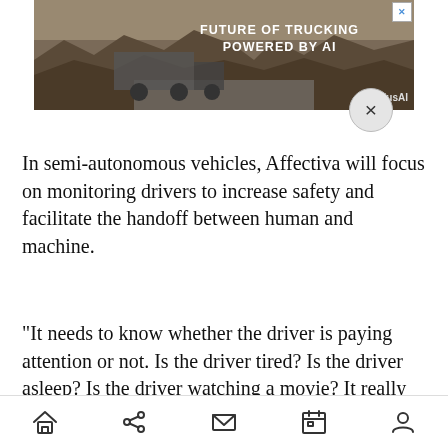[Figure (screenshot): Advertisement banner showing a truck on a desert road with text 'FUTURE OF TRUCKING POWERED BY AI' and a GPlusAI logo, with a close X button in top-right corner and a circular close button below]
In semi-autonomous vehicles, Affectiva will focus on monitoring drivers to increase safety and facilitate the handoff between human and machine.
“It needs to know whether the driver is paying attention or not. Is the driver tired? Is the driver asleep? Is the driver watching a movie? It really needs to understand the state of the driver, or the copilot in this case, so that it can safely transfer control back to a human driver,” CEO Rana el Kaliouby told VentureBeat in an interview.
Bottom navigation bar with home, share, mail, calendar, and user icons